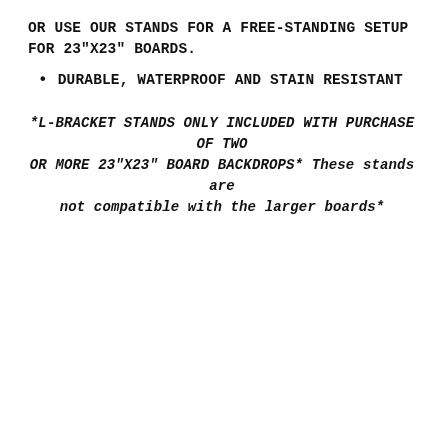OR USE OUR STANDS FOR A FREE-STANDING SETUP FOR 23"X23" BOARDS.
DURABLE, WATERPROOF AND STAIN RESISTANT
*L-BRACKET STANDS ONLY INCLUDED WITH PURCHASE OF TWO OR MORE 23"X23" BOARD BACKDROPS* These stands are not compatible with the larger boards*